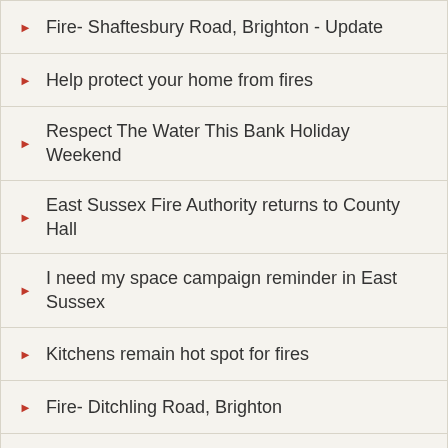Fire- Shaftesbury Road, Brighton - Update
Help protect your home from fires
Respect The Water This Bank Holiday Weekend
East Sussex Fire Authority returns to County Hall
I need my space campaign reminder in East Sussex
Kitchens remain hot spot for fires
Fire- Ditchling Road, Brighton
Washing machine believed to be cause of pub fire
The alarming way to make your home safe
East Sussex Fire Authority elects leaders